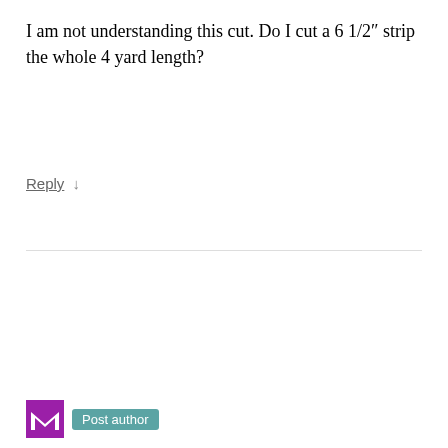I am not understanding this cut. Do I cut a 6 1/2″ strip the whole 4 yard length?
Reply ↓
[Figure (other): Purple avatar box with author icon and teal Post author badge]